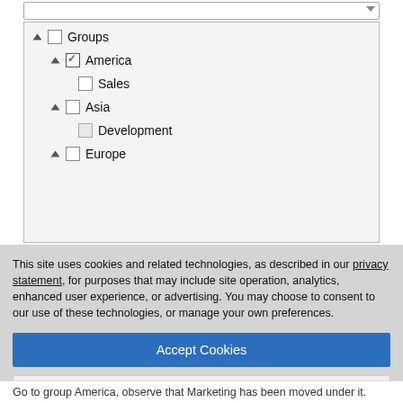[Figure (screenshot): A UI tree widget showing a checkbox hierarchy. Groups (unchecked) expands to America (checked) with Sales (unchecked), Asia (unchecked) with Development (unchecked), and Europe (unchecked).]
This site uses cookies and related technologies, as described in our privacy statement, for purposes that may include site operation, analytics, enhanced user experience, or advertising. You may choose to consent to our use of these technologies, or manage your own preferences.
Accept Cookies
More Information
Privacy Policy | Powered by: TrustArc
Go to group America, observe that Marketing has been moved under it.